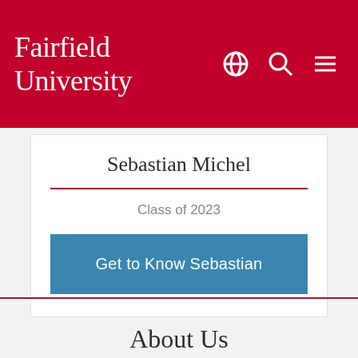Fairfield University
Sebastian Michel
Class of 2023
Get to Know Sebastian
About Us